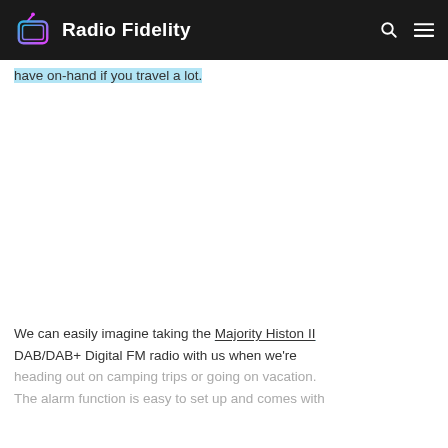Radio Fidelity
have on-hand if you travel a lot.
[Figure (other): Large blank advertisement or content placeholder area]
We can easily imagine taking the Majority Histon II DAB/DAB+ Digital FM radio with us when we're heading out on camping trips or going on vacation. The alarm function is easy to set up and comes with